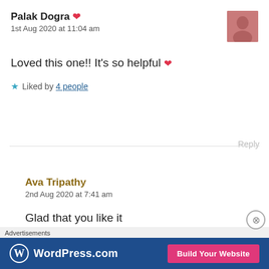Palak Dogra ❤ — 1st Aug 2020 at 11:04 am
Loved this one!! It's so helpful ❤
★ Liked by 4 people
Reply
Ava Tripathy — 2nd Aug 2020 at 7:41 am
Glad that you like it
Thank you so much ❤ 😊
Advertisements
[Figure (screenshot): WordPress.com advertisement banner with 'Build Your Website' button]